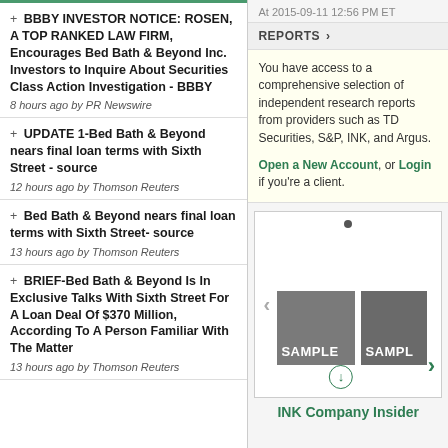+ BBBY INVESTOR NOTICE: ROSEN, A TOP RANKED LAW FIRM, Encourages Bed Bath & Beyond Inc. Investors to Inquire About Securities Class Action Investigation - BBBY
8 hours ago by PR Newswire
+ UPDATE 1-Bed Bath & Beyond nears final loan terms with Sixth Street - source
12 hours ago by Thomson Reuters
+ Bed Bath & Beyond nears final loan terms with Sixth Street- source
13 hours ago by Thomson Reuters
+ BRIEF-Bed Bath & Beyond Is In Exclusive Talks With Sixth Street For A Loan Deal Of $370 Million, According To A Person Familiar With The Matter
13 hours ago by Thomson Reuters
At 2015-09-11 12:56 PM ET
REPORTS >
You have access to a comprehensive selection of independent research reports from providers such as TD Securities, S&P, INK, and Argus.

Open a New Account, or Login if you're a client.
[Figure (illustration): A sample report viewer carousel showing two SAMPLE report thumbnails with navigation arrows, a download button, and a dot indicator at the top.]
INK Company Insider